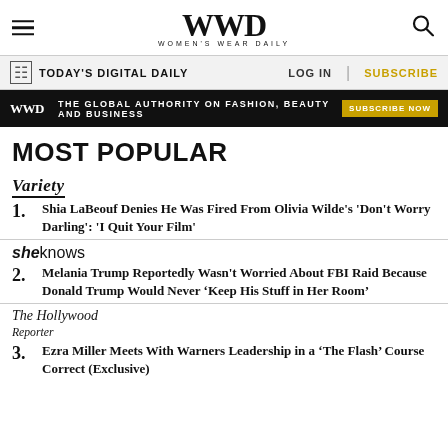WWD WOMEN'S WEAR DAILY
TODAY'S DIGITAL DAILY   LOG IN   SUBSCRIBE
WWD THE GLOBAL AUTHORITY ON FASHION, BEAUTY AND BUSINESS SUBSCRIBE NOW
MOST POPULAR
1. Shia LaBeouf Denies He Was Fired From Olivia Wilde's 'Don't Worry Darling': 'I Quit Your Film'
2. Melania Trump Reportedly Wasn't Worried About FBI Raid Because Donald Trump Would Never ‘Keep His Stuff in Her Room’
3. Ezra Miller Meets With Warners Leadership in a ‘The Flash’ Course Correct (Exclusive)